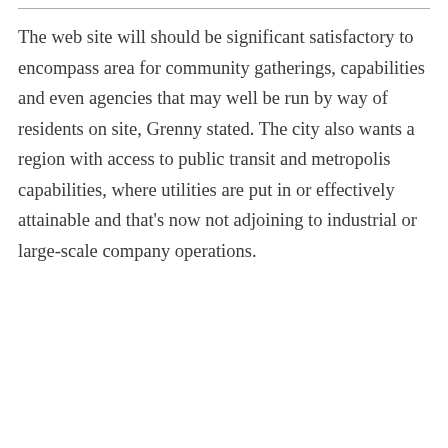The web site will should be significant satisfactory to encompass area for community gatherings, capabilities and even agencies that may well be run by way of residents on site, Grenny stated. The city also wants a region with access to public transit and metropolis capabilities, where utilities are put in or effectively attainable and that's now not adjoining to industrial or large-scale company operations.